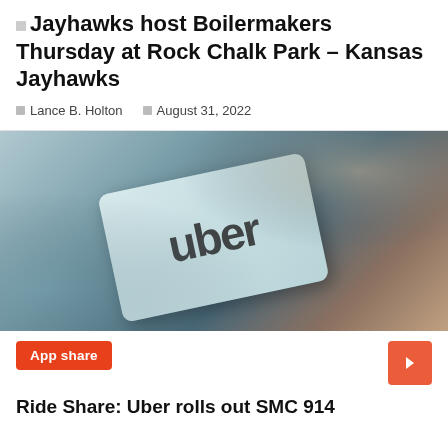Jayhawks host Boilermakers Thursday at Rock Chalk Park – Kansas Jayhawks
Lance B. Holton    August 31, 2022
[Figure (photo): Close-up photo of an Uber logo card/sticker on a dark surface, shown at an angle]
App share
Ride Share: Uber rolls out SMC 914